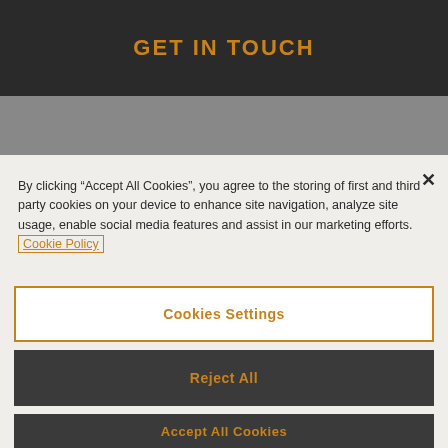GET IN TOUCH
By clicking “Accept All Cookies”, you agree to the storing of first and third party cookies on your device to enhance site navigation, analyze site usage, enable social media features and assist in our marketing efforts. Cookie Policy
Cookies Settings
Reject All
Accept All Cookies